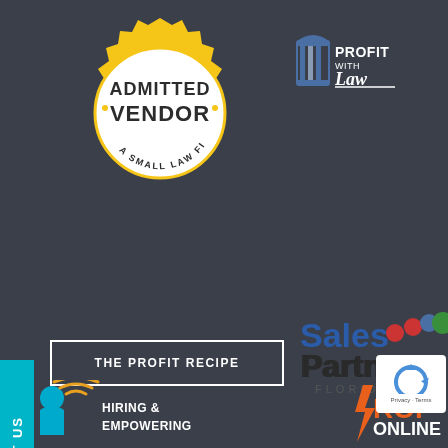[Figure (logo): Admitted Vendor - A Small Law Firm gear badge in gold/yellow with white center circle]
[Figure (logo): Profit with Law logo - pillar icon and stylized text]
[Figure (logo): TEXT US vertical cyan tab on left side]
[Figure (logo): THE PROFIT RECIPE text in white bordered rectangle]
[Figure (logo): Sales Partners Florida logo with colorful dots]
[Figure (logo): Hiring & Empowering logo with person/wifi icon]
[Figure (logo): ROI ONLINE logo in orange and white]
[Figure (logo): Google reCAPTCHA badge with Privacy and Terms]